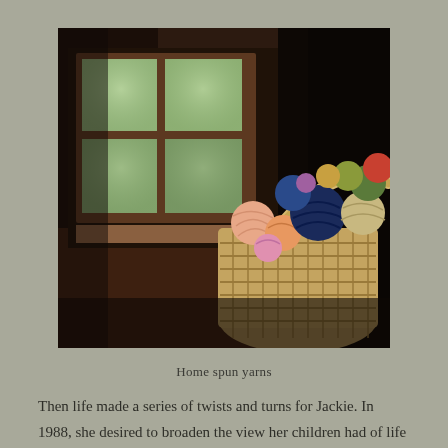[Figure (photo): A dark interior of a wooden barn or shed with two windows showing green foliage outside. In the foreground is a large woven basket filled with colorful balls of yarn in shades of peach, blue, navy, pink, green, red, and beige.]
Home spun yarns
Then life made a series of twists and turns for Jackie. In 1988, she desired to broaden the view her children had of life and the country so they struck out on a 10½ week